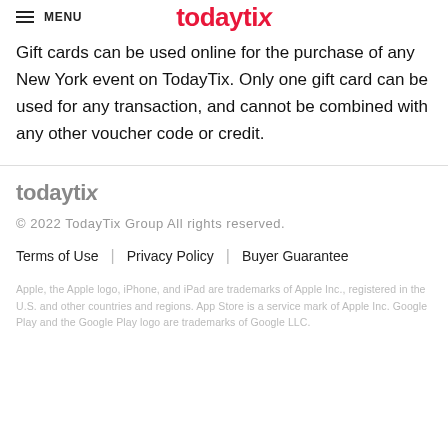≡ MENU  todaytix
Gift cards can be used online for the purchase of any New York event on TodayTix. Only one gift card can be used for any transaction, and cannot be combined with any other voucher code or credit.
[Figure (logo): TodayTix logo in gray]
© 2022 TodayTix Group All rights reserved.
Terms of Use | Privacy Policy | Buyer Guarantee
Apple, the Apple logo, iPhone, and iPad are trademarks of Apple Inc., registered in the U.S. and other countries and regions. App Store is a service mark of Apple Inc. Google Play and the Google Play logo are trademarks of Google LLC.